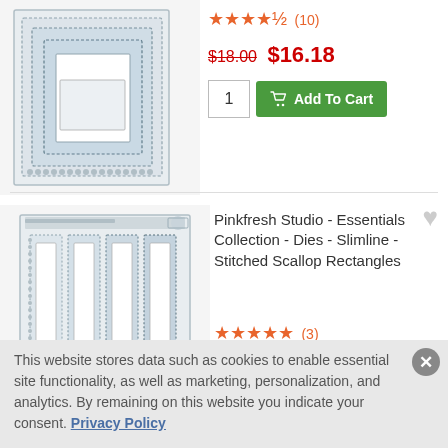[Figure (photo): Product image of stitched rectangle dies on white background, top-left corner]
★★★★½ (10)
$18.00  $16.18
1  Add To Cart
[Figure (photo): Product image of Pinkfresh Studio Slimline Stitched Scallop Rectangles dies]
Pinkfresh Studio - Essentials Collection - Dies - Slimline - Stitched Scallop Rectangles
★★★★★ (3)
$22.00  $19.78
This website stores data such as cookies to enable essential site functionality, as well as marketing, personalization, and analytics. By remaining on this website you indicate your consent. Privacy Policy